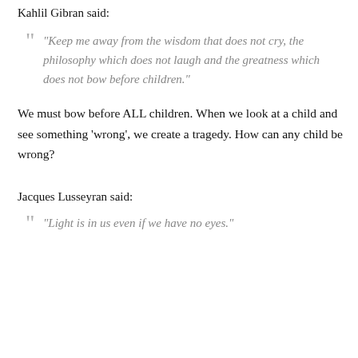Kahlil Gibran said:
“Keep me away from the wisdom that does not cry, the philosophy which does not laugh and the greatness which does not bow before children.”
We must bow before ALL children. When we look at a child and see something ‘wrong’, we create a tragedy. How can any child be wrong?
Jacques Lusseyran said:
“Light is in us even if we have no eyes.”